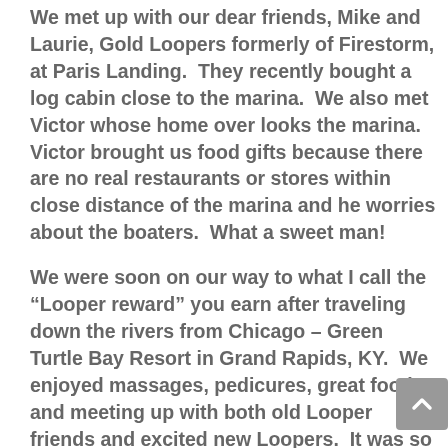We met up with our dear friends, Mike and Laurie, Gold Loopers formerly of Firestorm, at Paris Landing.  They recently bought a log cabin close to the marina.  We also met Victor whose home over looks the marina.  Victor brought us food gifts because there are no real restaurants or stores within close distance of the marina and he worries about the boaters.  What a sweet man!
We were soon on our way to what I call the “Looper reward” you earn after traveling down the rivers from Chicago – Green Turtle Bay Resort in Grand Rapids, KY.  We enjoyed massages, pedicures, great food and meeting up with both old Looper friends and excited new Loopers.  It was so fun to share memories of adventures with former